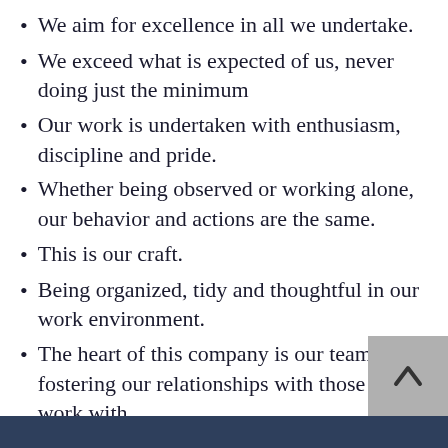We aim for excellence in all we undertake.
We exceed what is expected of us, never doing just the minimum
Our work is undertaken with enthusiasm, discipline and pride.
Whether being observed or working alone, our behavior and actions are the same.
This is our craft.
Being organized, tidy and thoughtful in our work environment.
The heart of this company is our team and fostering our relationships with those we work with.
You can depend on us.
Commitment that shows it is never “just a job”  for us.